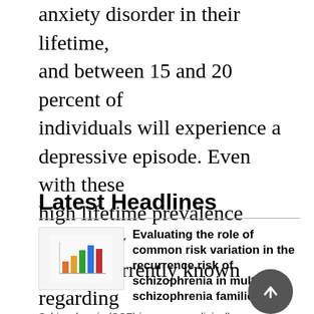anxiety disorder in their lifetime, and between 15 and 20 percent of individuals will experience a depressive episode. Even with these high lifetime prevalence rates, very little is currently known regarding the genetic basis of IDs and how it relates to other internalizing ...
Latest Headlines
[Figure (other): Thumbnail image showing a bar chart graphic used as article thumbnail]
Evaluating the role of common risk variation in the recurrence risk of schizophrenia in multiplex schizophrenia families
Schizophrenia (SCZ) is a severe, clinically heterogeneous psychiatric disorder with a population